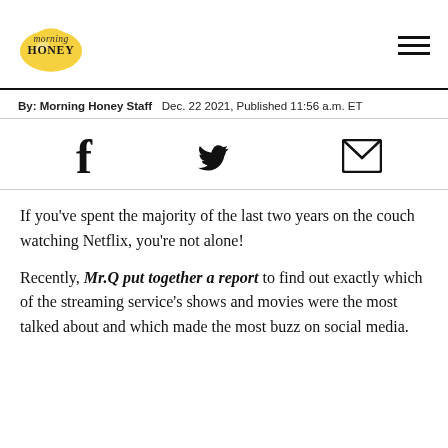morning HONEY
By: Morning Honey Staff  Dec. 22 2021, Published 11:56 a.m. ET
[Figure (infographic): Social share icons: Facebook f, Twitter bird, Email envelope]
If you've spent the majority of the last two years on the couch watching Netflix, you're not alone!

Recently, Mr.Q put together a report to find out exactly which of the streaming service's shows and movies were the most talked about and which made the most buzz on social media.